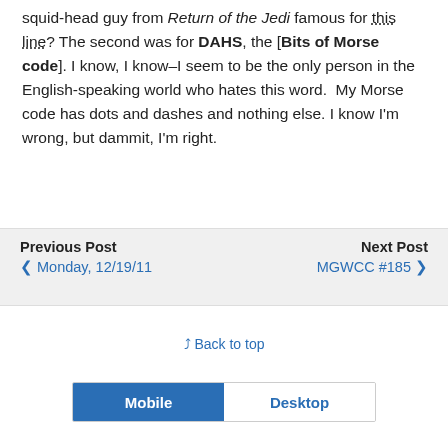squid-head guy from Return of the Jedi famous for this line? The second was for DAHS, the [Bits of Morse code]. I know, I know–I seem to be the only person in the English-speaking world who hates this word.  My Morse code has dots and dashes and nothing else. I know I'm wrong, but dammit, I'm right.
Previous Post | Monday, 12/19/11 | Next Post | MGWCC #185
Back to top
Mobile | Desktop